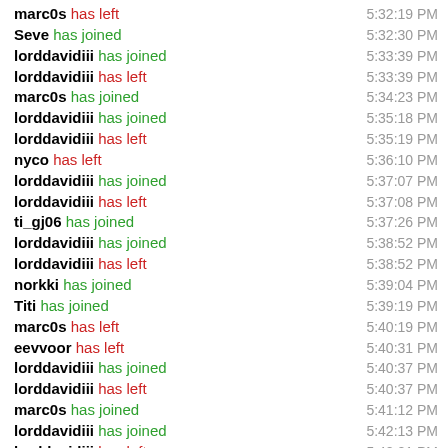marc0s has left 5:32:19 PM
Seve has joined 5:32:30 PM
lorddavidiii has joined 5:33:39 PM
lorddavidiii has left 5:33:39 PM
marc0s has joined 5:34:23 PM
lorddavidiii has joined 5:35:18 PM
lorddavidiii has left 5:35:19 PM
nyco has left 5:36:10 PM
lorddavidiii has joined 5:37:07 PM
lorddavidiii has left 5:37:08 PM
ti_gj06 has joined 5:37:26 PM
lorddavidiii has joined 5:38:52 PM
lorddavidiii has left 5:38:52 PM
norkki has joined 5:39:04 PM
Titi has joined 5:39:19 PM
marc0s has left 5:40:19 PM
eevvoor has left 5:40:31 PM
lorddavidiii has joined 5:40:37 PM
lorddavidiii has left 5:40:37 PM
marc0s has joined 5:41:12 PM
lorddavidiii has joined 5:42:13 PM
lorddavidiii has left 5:42:21 PM
lorddavidiii has joined 5:44:26 PM
lorddavidiii has left 5:44:27 PM
nyco has joined 5:45:03 PM